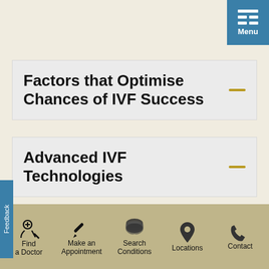[Figure (screenshot): Menu button with grid icon in top-right corner, teal/blue background]
Factors that Optimise Chances of IVF Success
Advanced IVF Technologies
About Us | News & Events | Media | Contact Us | Site Map | Terms and Conditions | Data Protection
Copyright © 2022 Parkway Holdings Limited. All rights reserved. Company Registration no. 197400320R
[Figure (infographic): Bottom navigation bar with icons: Find a Doctor, Make an Appointment, Search Conditions, Locations, Contact]